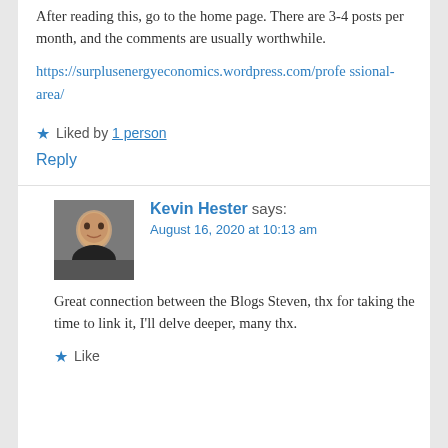After reading this, go to the home page. There are 3-4 posts per month, and the comments are usually worthwhile.
https://surplusenergyeconomics.wordpress.com/professional-area/
★ Liked by 1 person
Reply
Kevin Hester says:
August 16, 2020 at 10:13 am
Great connection between the Blogs Steven, thx for taking the time to link it, I'll delve deeper, many thx.
★ Like